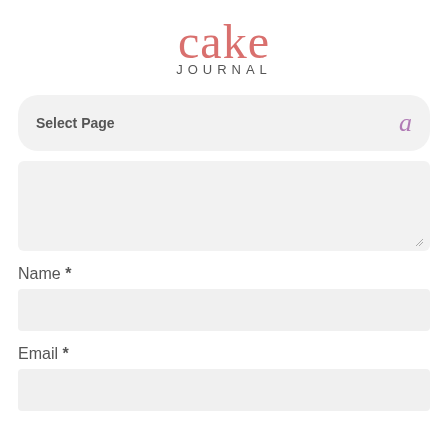[Figure (logo): Cake Journal logo with 'cake' in large pink serif font and 'JOURNAL' in small grey spaced caps below]
Select Page  a
[Figure (screenshot): Empty textarea form field with light grey background and resize handle]
Name *
[Figure (screenshot): Empty text input field for Name]
Email *
[Figure (screenshot): Empty text input field for Email]